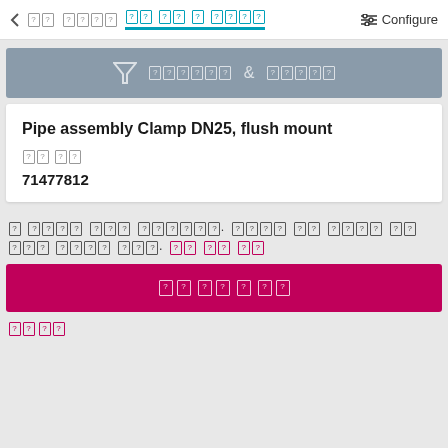< [placeholder] [placeholder] [active-tab placeholder] Configure
[Figure (screenshot): Filter & sort bar with funnel icon and placeholder text]
Pipe assembly Clamp DN25, flush mount
[placeholder label] [placeholder label]
71477812
[placeholder sentence with magenta link text]
[placeholder button text]
[placeholder link]